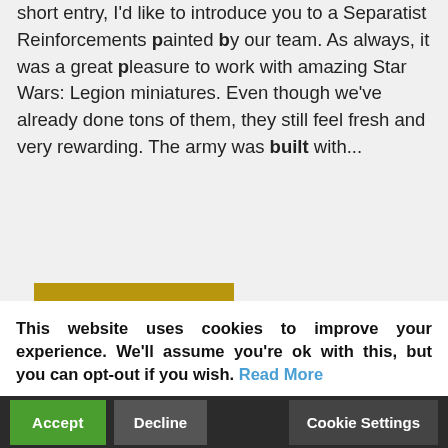short entry, I'd like to introduce you to a Separatist Reinforcements painted by our team. As always, it was a great pleasure to work with amazing Star Wars: Legion miniatures. Even though we've already done tons of them, they still feel fresh and very rewarding. The army was built with...
READ MORE
This website uses cookies to improve your experience. We'll assume you're ok with this, but you can opt-out if you wish. Read More
Accept Decline Cookie Settings
Star Wars: Legion – Galactic Empire Army